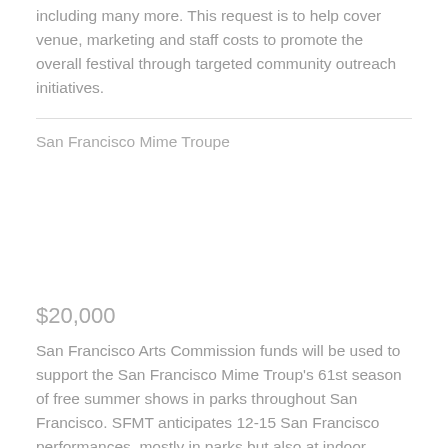including many more. This request is to help cover venue, marketing and staff costs to promote the overall festival through targeted community outreach initiatives.
San Francisco Mime Troupe
$20,000
San Francisco Arts Commission funds will be used to support the San Francisco Mime Troup's 61st season of free summer shows in parks throughout San Francisco. SFMT anticipates 12-15 San Francisco performances, mostly in parks but also at indoor